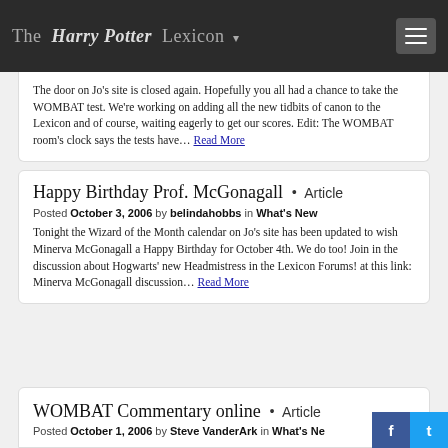The Harry Potter Lexicon
The door on Jo's site is closed again. Hopefully you all had a chance to take the WOMBAT test. We're working on adding all the new tidbits of canon to the Lexicon and of course, waiting eagerly to get our scores. Edit: The WOMBAT room's clock says the tests have... Read More
Happy Birthday Prof. McGonagall • Article
Posted October 3, 2006 by belindahobbs in What's New
Tonight the Wizard of the Month calendar on Jo's site has been updated to wish Minerva McGonagall a Happy Birthday for October 4th. We do too! Join in the discussion about Hogwarts' new Headmistress in the Lexicon Forums! at this link: Minerva McGonagall discussion... Read More
WOMBAT Commentary online • Article
Posted October 1, 2006 by Steve VanderArk in What's New